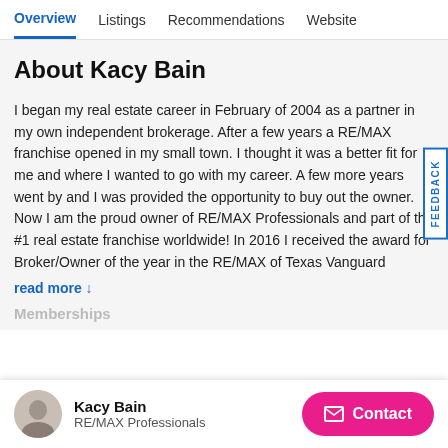Overview  Listings  Recommendations  Website
About Kacy Bain
I began my real estate career in February of 2004 as a partner in my own independent brokerage. After a few years a RE/MAX franchise opened in my small town. I thought it was a better fit for me and where I wanted to go with my career. A few more years went by and I was provided the opportunity to buy out the owner. Now I am the proud owner of RE/MAX Professionals and part of the #1 real estate franchise worldwide! In 2016 I received the award for Broker/Owner of the year in the RE/MAX of Texas Vanguard
read more ↓
Kacy Bain
RE/MAX Professionals